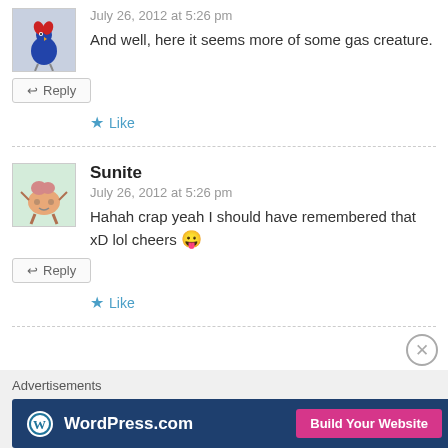[Figure (illustration): Avatar of a cartoon bird/turkey character with red accents on blue background]
July 26, 2012 at 5:26 pm
And well, here it seems more of some gas creature.
↩ Reply
★ Like
[Figure (illustration): Avatar of a cartoon blob creature on light green background]
Sunite
July 26, 2012 at 5:26 pm
Hahah crap yeah I should have remembered that xD lol cheers 😛
↩ Reply
★ Like
Advertisements
[Figure (screenshot): WordPress.com advertisement banner with Build Your Website button]